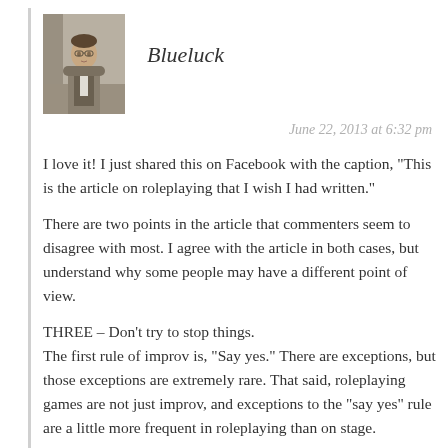[Figure (photo): Avatar photo of a person wearing a vest/suit, standing indoors]
Blueluck
June 22, 2013 at 6:32 pm
I love it! I just shared this on Facebook with the caption, "This is the article on roleplaying that I wish I had written."
There are two points in the article that commenters seem to disagree with most. I agree with the article in both cases, but understand why some people may have a different point of view.
THREE – Don't try to stop things.
The first rule of improv is, "Say yes." There are exceptions, but those exceptions are extremely rare. That said, roleplaying games are not just improv, and exceptions to the "say yes" rule are a little more frequent in roleplaying than on stage.